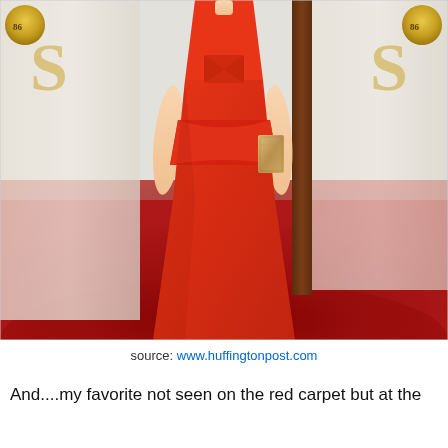[Figure (photo): A woman in a red peplum gown standing on the red carpet at what appears to be the Oscars, holding a metallic clutch. The background shows the Oscar backdrop with gold logos.]
source: www.huffingtonpost.com
And....my favorite not seen on the red carpet but at the